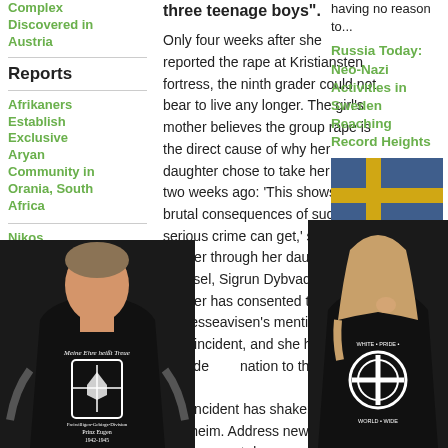Complex Discovered in Austria
Reports
Afrikaners Establish Exclusive Aryan Community in Orania, South Africa
Nikos Michaloliakos: Golden Dawn Conti...
three teenage boys".
Only four weeks after she reported the rape at Kristiansten fortress, the ninth grader could not bear to live any longer. The girl's mother believes the group rape is the direct cause of why her daughter chose to take her life two weeks ago: 'This shows how brutal consequences of such a serious crime can get,' said her mother through her daughter's counsel, Sigrun Dybvad. Her mother has consented to the Adresseavisen's mentioning the incident, and she has provided information to the case.
The incident has shaken many in Trondheim. Address newspaper has in recent days received emails and calls from desperate and
having no reason to...
Russia Today: Neo-Nazi Activities in Sweden Reaching Record Heights
[Figure (photo): Man wearing black t-shirt with Nazi SS division Prinz Eugen insignia, text 'Meine Ehre heißt Treue' and 'Freiwilligen-Gebirgs-Division Prinz Eugen 1942-1945']
[Figure (photo): Woman wearing black hoodie with White Pride World Wide Celtic cross logo]